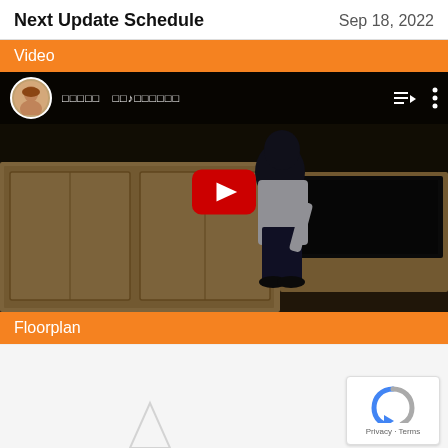Next Update Schedule    Sep 18, 2022
Video
[Figure (screenshot): YouTube video player showing a dark animated scene with a character in a room with wooden furniture and a TV. The video player overlay shows a channel avatar, channel name in Japanese characters, playlist icon, and options menu. A red YouTube play button is centered on the video.]
Floorplan
[Figure (other): reCAPTCHA badge with Privacy and Terms links in the bottom right corner]